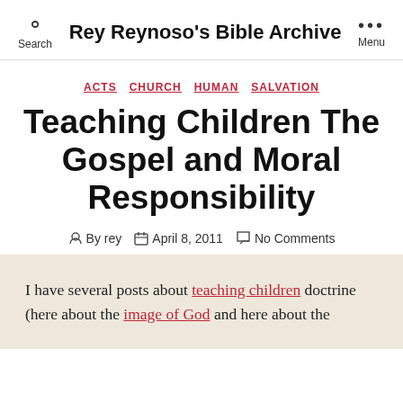Rey Reynoso's Bible Archive
ACTS  CHURCH  HUMAN  SALVATION
Teaching Children The Gospel and Moral Responsibility
By rey  April 8, 2011  No Comments
I have several posts about teaching children doctrine (here about the image of God and here about the